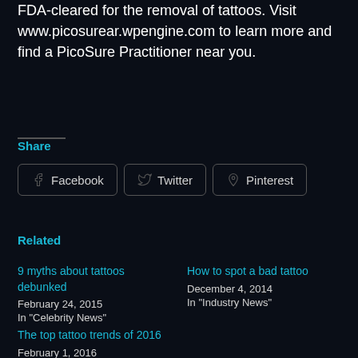FDA-cleared for the removal of tattoos. Visit www.picosurear.wpengine.com to learn more and find a PicoSure Practitioner near you.
Share
Facebook   Twitter   Pinterest
Related
9 myths about tattoos debunked
February 24, 2015
In "Celebrity News"
How to spot a bad tattoo
December 4, 2014
In "Industry News"
The top tattoo trends of 2016
February 1, 2016
In "Industry News"